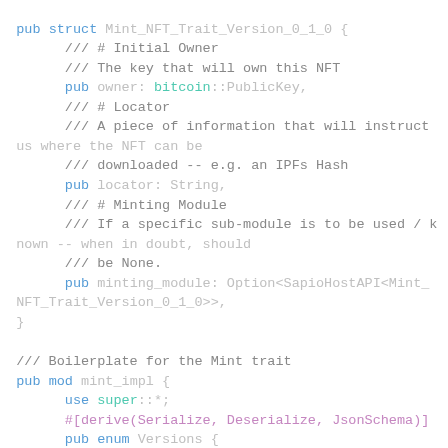Code snippet showing Rust struct Mint_NFT_Trait_Version_0_1_0 with fields owner, locator, minting_module, and a pub mod mint_impl block with use super::*, derive attribute, and pub enum Versions.